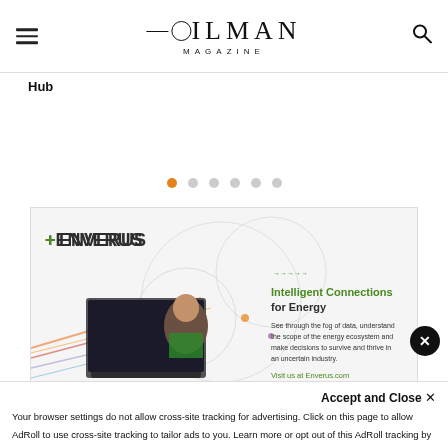OILMAN MAGAZINE
Hub
[Figure (screenshot): Carousel navigation dots, one orange active dot followed by five grey dots]
[Figure (screenshot): Close button (X) in black circle]
[Figure (advertisement): Enverus advertisement banner showing a man working at a computer with the text: Intelligent Connections for Energy. See through the fog of data, understand the scope of the energy ecosystem and make decisions to survive and thrive in an uncertain industry. Visit us at Enverus.com]
Accept and Close ✕
Your browser settings do not allow cross-site tracking for advertising. Click on this page to allow AdRoll to use cross-site tracking to tailor ads to you. Learn more or opt out of this AdRoll tracking by clicking here. This message only appears once.